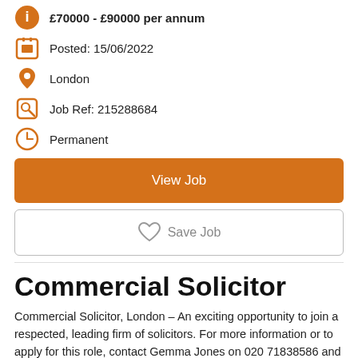£70000 - £90000 per annum
Posted: 15/06/2022
London
Job Ref: 215288684
Permanent
View Job
Save Job
Commercial Solicitor
Commercial Solicitor, London – An exciting opportunity to join a respected, leading firm of solicitors. For more information or to apply for this role, contact Gemma Jones on 020 71838586 and